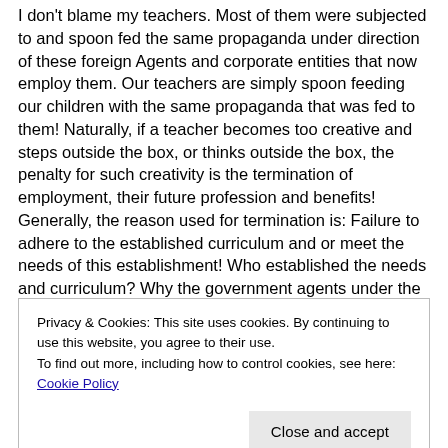I don't blame my teachers. Most of them were subjected to and spoon fed the same propaganda under direction of these foreign Agents and corporate entities that now employ them. Our teachers are simply spoon feeding our children with the same propaganda that was fed to them! Naturally, if a teacher becomes too creative and steps outside the box, or thinks outside the box, the penalty for such creativity is the termination of employment, their future profession and benefits! Generally, the reason used for termination is: Failure to adhere to the established curriculum and or meet the needs of this establishment! Who established the needs and curriculum? Why the government agents under the U. S. Department of Education, acting through the foreign Agents representing the
Privacy & Cookies: This site uses cookies. By continuing to use this website, you agree to their use.
To find out more, including how to control cookies, see here: Cookie Policy
Canada will dissolve and become one country to be called North